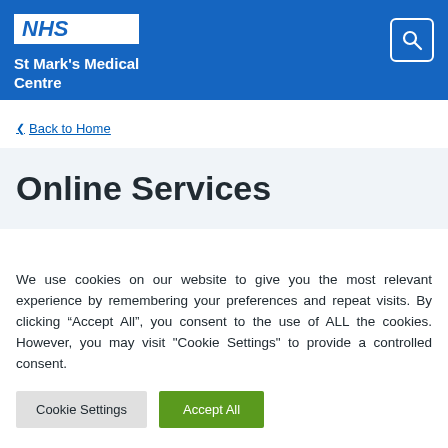NHS St Mark's Medical Centre
Back to Home
Online Services
We use cookies on our website to give you the most relevant experience by remembering your preferences and repeat visits. By clicking "Accept All", you consent to the use of ALL the cookies. However, you may visit "Cookie Settings" to provide a controlled consent.
Cookie Settings  Accept All